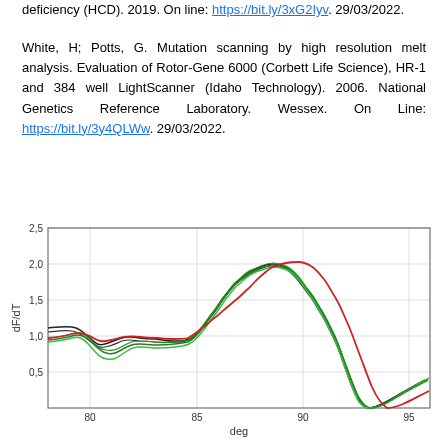deficiency (HCD). 2019. On line: https://bit.ly/3xG2Iyv. 29/03/2022.
White, H; Potts, G. Mutation scanning by high resolution melt analysis. Evaluation of Rotor-Gene 6000 (Corbett Life Science), HR-1 and 384 well LightScanner (Idaho Technology). 2006. National Genetics Reference Laboratory. Wessex. On Line: https://bit.ly/3y4QLWw. 29/03/2022.
[Figure (continuous-plot): Line chart showing dF/dT (y-axis, 0.5 to 2.5) vs temperature in degrees (x-axis, ~78 to 95). Multiple overlapping curves in black, dark green, and red show two peaks: a smaller one around 80 degrees and a larger one around 87-88 degrees. The red curve peak is slightly shifted right compared to black and green curves.]